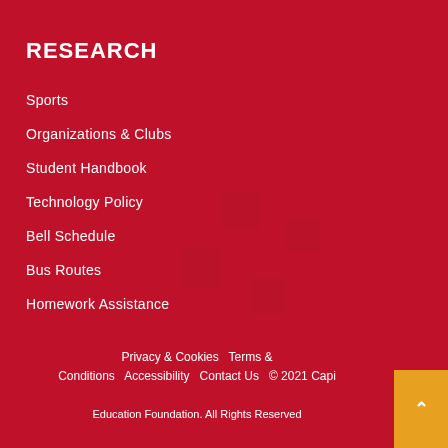RESEARCH
Sports
Organizations & Clubs
Student Handbook
Technology Policy
Bell Schedule
Bus Routes
Homework Assistance
Privacy & Cookies  Terms & Conditions  Accessibility  Contact Us  © 2021 Capi Education Foundation. All Rights Reserved